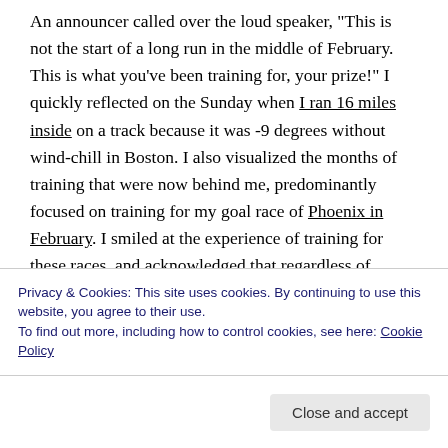An announcer called over the loud speaker, "This is not the start of a long run in the middle of February. This is what you've been training for, your prize!" I quickly reflected on the Sunday when I ran 16 miles inside on a track because it was -9 degrees without wind-chill in Boston. I also visualized the months of training that were now behind me, predominantly focused on training for my goal race of Phoenix in February. I smiled at the experience of training for these races, and acknowledged that regardless of Boston's outcome, the last few months had surprisingly been fun. I also developed an acceptance of being uncomfortable, which is an essential element of
Privacy & Cookies: This site uses cookies. By continuing to use this website, you agree to their use. To find out more, including how to control cookies, see here: Cookie Policy
Close and accept